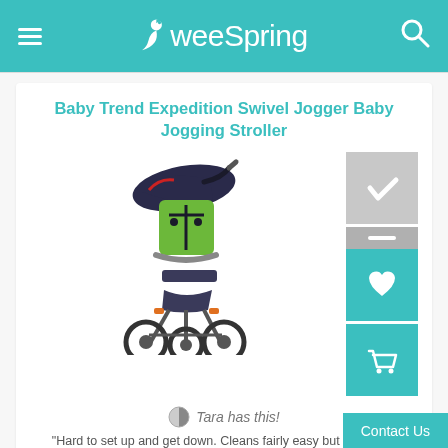weeSpring
Baby Trend Expedition Swivel Jogger Baby Jogging Stroller
[Figure (photo): Baby Trend Expedition Swivel Jogger jogging stroller in dark gray and green, shown at an angle with three wheels visible]
Tara has this!
"Hard to set up and get down. Cleans fairly easy but doesn't fit well in the car."